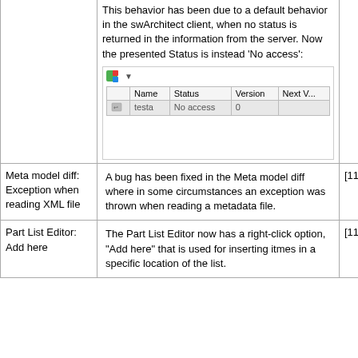This behavior has been due to a default behavior in the swArchitect client, when no status is returned in the information from the server. Now the presented Status is instead 'No access':
[Figure (screenshot): Screenshot of a UI table showing Name, Status, Version, Next V... columns with a row for 'testa' showing 'No access' status and version '0']
Meta model diff: Exception when reading XML file
A bug has been fixed in the Meta model diff where in some circumstances an exception was thrown when reading a metadata file.
[11761]
Part List Editor: Add here
The Part List Editor now has a right-click option, "Add here" that is used for inserting itmes in a specific location of the list.
[11618]